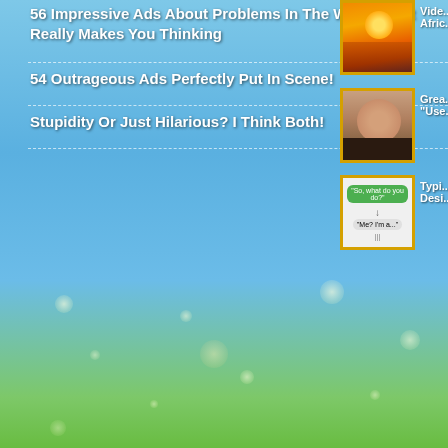[Figure (illustration): Blue sky with sparkle/light bokeh effects and green grass at the bottom — website background illustration]
56 Impressive Ads About Problems In The World, That Really Makes You Thinking
54 Outrageous Ads Perfectly Put In Scene!
Stupidity Or Just Hilarious? I Think Both!
[Figure (photo): Thumbnail photo of a sunset over water with orange sky]
Vide... Afric...
[Figure (photo): Thumbnail close-up of a woman's face]
Grea... "Use...
[Figure (screenshot): Thumbnail showing a chat bubble UI screenshot]
Typi... Desi...
© Copyright Not A Niche 2022. All rights
30th birthday Ad Add-On AFV Beach birthday Birthday Party blog Brennbar B Design Firefox Football Fort Worth Friends Fun Germany Halloween In Carmen Plugin San Francisco School Soccer South Africa Squash Texas Thanksgiving T WordPress